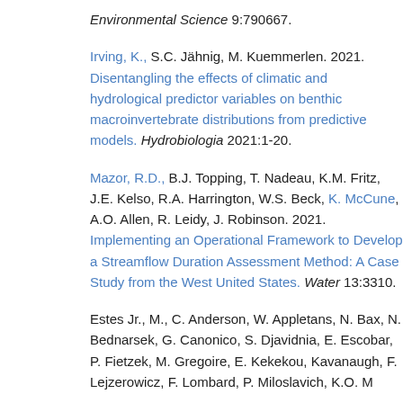Environmental Science 9:790667.
Irving, K., S.C. Jähnig, M. Kuemmerlen. 2021. Disentangling the effects of climatic and hydrological predictor variables on benthic macroinvertebrate distributions from predictive models. Hydrobiologia 2021:1-20.
Mazor, R.D., B.J. Topping, T. Nadeau, K.M. Fritz, J.E. Kelso, R.A. Harrington, W.S. Beck, K. McCune, A.O. Allen, R. Leidy, J. Robinson. 2021. Implementing an Operational Framework to Develop a Streamflow Duration Assessment Method: A Case Study from the West United States. Water 13:3310.
Estes Jr., M., C. Anderson, W. Appletans, N. Bax, N. Bednarsek, G. Canonico, S. Djavidnia, E. Escobar, P. Fietzek, M. Gregoire, E. Kekekou, Kavanaugh, F. Lejzerowicz, F. Lombard, P. Miloslavich, K.O. M...